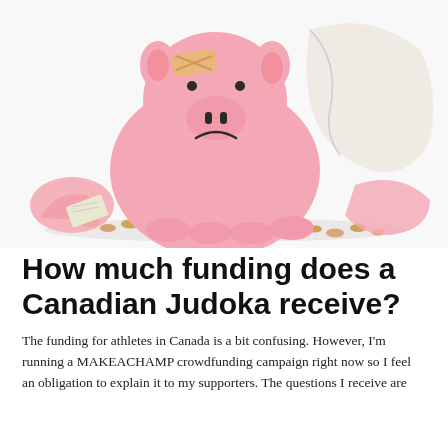[Figure (photo): A broken pink piggy bank with a bandage on its forehead and a sad face, shattered pieces and coins scattered around it on a white background.]
How much funding does a Canadian Judoka receive?
The funding for athletes in Canada is a bit confusing. However, I'm running a MAKEACHAMP crowdfunding campaign right now so I feel an obligation to explain it to my supporters. The questions I receive are